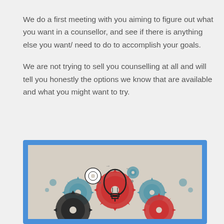We do a first meeting with you aiming to figure out what you want in a counsellor, and see if there is anything else you want/ need to do to accomplish your goals.
We are not trying to sell you counselling at all and will tell you honestly the options we know that are available and what you might want to try.
[Figure (illustration): Illustration of colorful gears and a light bulb on a beige background, framed with a blue border]